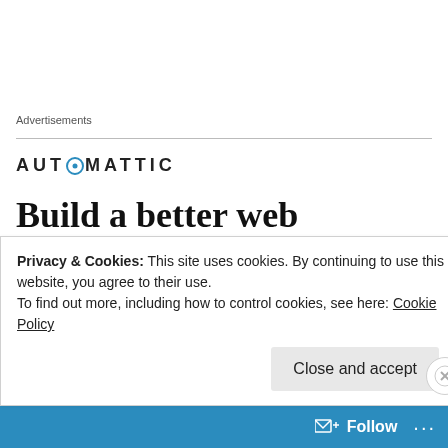Advertisements
[Figure (logo): Automattic logo with circular icon containing a dot]
Build a better web
Lisa on September 1, 2010 at 9:06 pm
Privacy & Cookies: This site uses cookies. By continuing to use this website, you agree to their use.
To find out more, including how to control cookies, see here: Cookie Policy
Close and accept
Follow